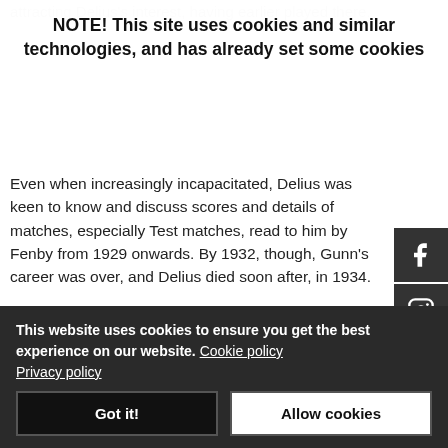attracting Delius's interest, having earlier played there.
NOTE! This site uses cookies and similar technologies, and has already set some cookies
Even when increasingly incapacitated, Delius was keen to know and discuss scores and details of matches, especially Test matches, read to him by Fenby from 1929 onwards. By 1932, though, Gunn's career was over, and Delius died soon after, in 1934.

What of John Gunn? Later in life did he ever remember this connection between himself and Delius. It is likely Gunn would remember this Paris match - his first abroad and in his first full season. This, despite him playing over
This website uses cookies to ensure you get the best experience on our website. Cookie policy
Privacy policy
Got it!
Allow cookies